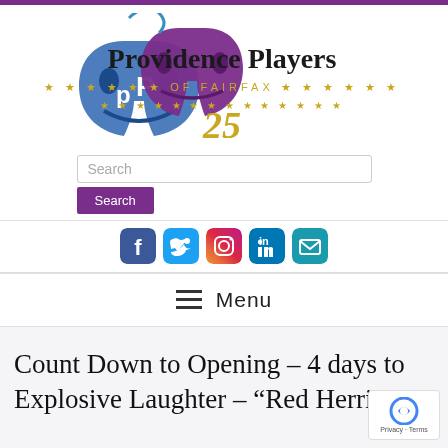[Figure (logo): Providence Players of Fairfax logo with theater masks and '25' anniversary badge]
[Figure (screenshot): Search input field with placeholder text 'Search' and a purple Search button below]
[Figure (infographic): Row of social media icons: Facebook, Twitter, Instagram, LinkedIn, Email]
[Figure (infographic): Menu bar with hamburger icon and 'Menu' text]
Count Down to Opening – 4 days to Explosive Laughter – "Red Herring"